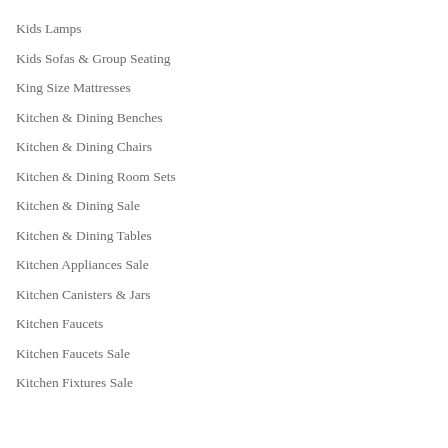Kids Lamps
Kids Sofas & Group Seating
King Size Mattresses
Kitchen & Dining Benches
Kitchen & Dining Chairs
Kitchen & Dining Room Sets
Kitchen & Dining Sale
Kitchen & Dining Tables
Kitchen Appliances Sale
Kitchen Canisters & Jars
Kitchen Faucets
Kitchen Faucets Sale
Kitchen Fixtures Sale